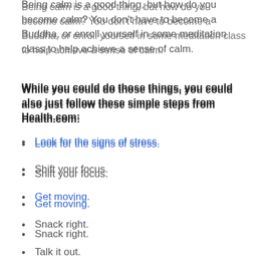Being calm is a good thing, but how do you become calm? You don't have to become a Buddha, or enroll yourself in some meditation class to help achieve a sense of calm.
While you could do those things, you could also just follow these simple steps from Health.com:
Look for the signs of stress.
Shift your focus.
Get moving.
Snack right.
Talk it out.
Remove yourself from the situation.
Don't wait until the last minute to try and